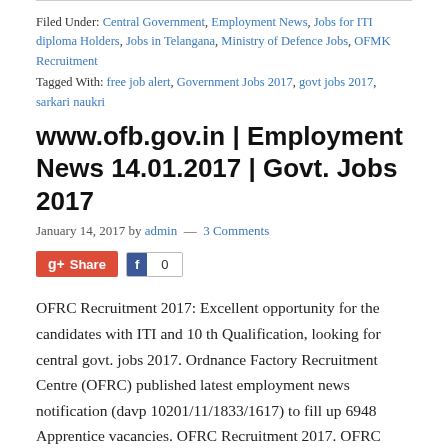Filed Under: Central Government, Employment News, Jobs for ITI diploma Holders, Jobs in Telangana, Ministry of Defence Jobs, OFMK Recruitment
Tagged With: free job alert, Government Jobs 2017, govt jobs 2017, sarkari naukri
www.ofb.gov.in | Employment News 14.01.2017 | Govt. Jobs 2017
January 14, 2017 by admin — 3 Comments
[Figure (other): Social sharing buttons: Google+ Share button (red) and Facebook like button with count 0]
OFRC Recruitment 2017: Excellent opportunity for the candidates with ITI and 10 th Qualification, looking for central govt. jobs 2017. Ordnance Factory Recruitment Centre (OFRC) published latest employment news notification (davp 10201/11/1833/1617) to fill up 6948 Apprentice vacancies. OFRC Recruitment 2017. OFRC Recruitment 2017 Vacancy Details: Engagement of Trade